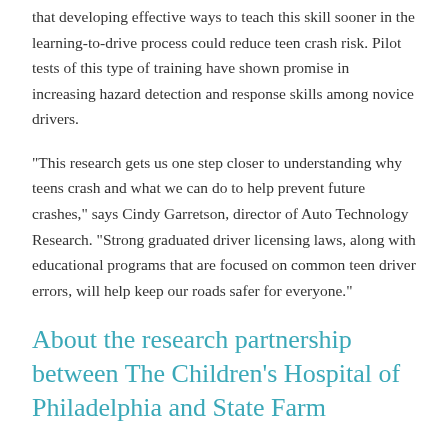that developing effective ways to teach this skill sooner in the learning-to-drive process could reduce teen crash risk. Pilot tests of this type of training have shown promise in increasing hazard detection and response skills among novice drivers.
"This research gets us one step closer to understanding why teens crash and what we can do to help prevent future crashes," says Cindy Garretson, director of Auto Technology Research. "Strong graduated driver licensing laws, along with educational programs that are focused on common teen driver errors, will help keep our roads safer for everyone."
About the research partnership between The Children's Hospital of Philadelphia and State Farm
Motor vehicle crashes remain the No. 1 cause of death among teens in the United States. Teen drivers (ages 16 to 19) have fatal crashes at four times the rate of adult drivers (ages 25 to 69). To reduce injury and death from young driver-related crashes through scientific research and outreach, The